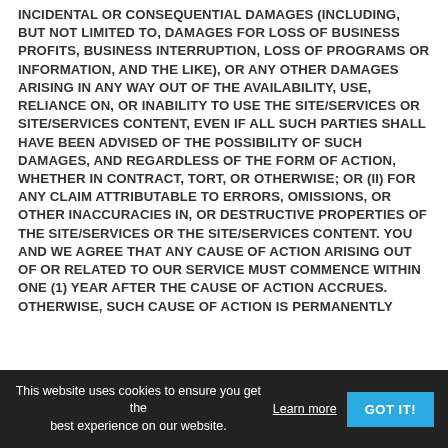INCIDENTAL OR CONSEQUENTIAL DAMAGES (INCLUDING, BUT NOT LIMITED TO, DAMAGES FOR LOSS OF BUSINESS PROFITS, BUSINESS INTERRUPTION, LOSS OF PROGRAMS OR INFORMATION, AND THE LIKE), OR ANY OTHER DAMAGES ARISING IN ANY WAY OUT OF THE AVAILABILITY, USE, RELIANCE ON, OR INABILITY TO USE THE SITE/SERVICES OR SITE/SERVICES CONTENT, EVEN IF ALL SUCH PARTIES SHALL HAVE BEEN ADVISED OF THE POSSIBILITY OF SUCH DAMAGES, AND REGARDLESS OF THE FORM OF ACTION, WHETHER IN CONTRACT, TORT, OR OTHERWISE; OR (ii) FOR ANY CLAIM ATTRIBUTABLE TO ERRORS, OMISSIONS, OR OTHER INACCURACIES IN, OR DESTRUCTIVE PROPERTIES OF THE SITE/SERVICES OR THE SITE/SERVICES CONTENT. YOU AND WE AGREE THAT ANY CAUSE OF ACTION ARISING OUT OF OR RELATED TO OUR SERVICE MUST COMMENCE WITHIN ONE (1) YEAR AFTER THE CAUSE OF ACTION ACCRUES. OTHERWISE, SUCH CAUSE OF ACTION IS PERMANENTLY
This website uses cookies to ensure you get the best experience on our website.